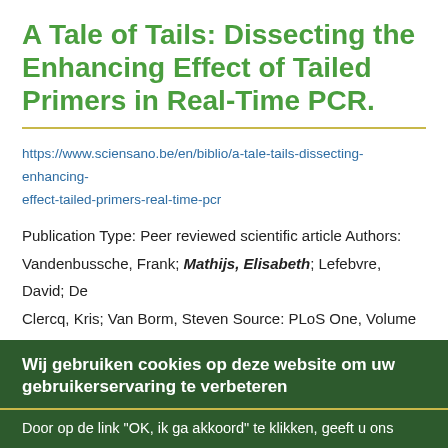A Tale of Tails: Dissecting the Enhancing Effect of Tailed Primers in Real-Time PCR.
https://www.sciensano.be/en/biblio/a-tale-tails-dissecting-enhancing-effect-tailed-primers-real-time-pcr
Publication Type: Peer reviewed scientific article Authors: Vandenbussche, Frank; Mathijs, Elisabeth; Lefebvre, David; De Clercq, Kris; Van Borm, Steven Source: PLoS One, Volume 11, Issue 10, ...
Complete Genome Sequence of Caprin parvirus Strain KSGP...
Wij gebruiken cookies op deze website om uw gebruikerservaring te verbeteren
Door op de link "OK, ik ga akkoord" te klikken, geeft u ons